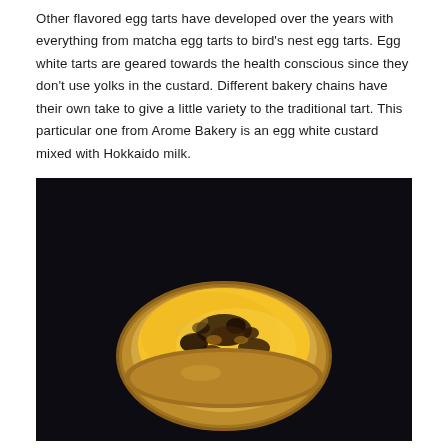Other flavored egg tarts have developed over the years with everything from matcha egg tarts to bird's nest egg tarts. Egg white tarts are geared towards the health conscious since they don't use yolks in the custard. Different bakery chains have their own take to give a little variety to the traditional tart. This particular one from Arome Bakery is an egg white custard mixed with Hokkaido milk.
[Figure (photo): A close-up photograph of an egg tart on a dark background. The tart features a golden-yellow custard filling with dark brown caramelized spots, sitting in a pale tan/golden pastry shell. The image is taken on a very dark, almost black surface.]